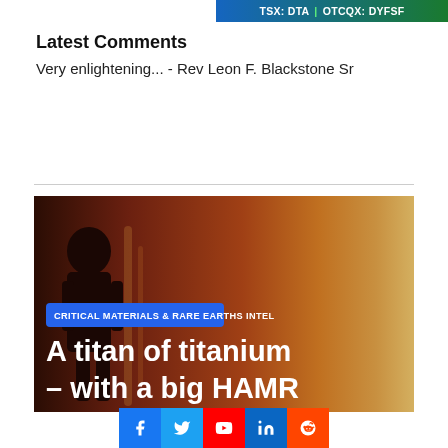TSX: DTA | OTCQX: DYFSF
Latest Comments
Very enlightening... - Rev Leon F. Blackstone Sr
[Figure (photo): Article hero image with dark silhouette figure on reddish-brown background with badge label 'CRITICAL MATERIALS & RARE EARTHS INTEL' and title 'A titan of titanium – with a big HAMR']
CRITICAL MATERIALS & RARE EARTHS INTEL
A titan of titanium – with a big HAMR